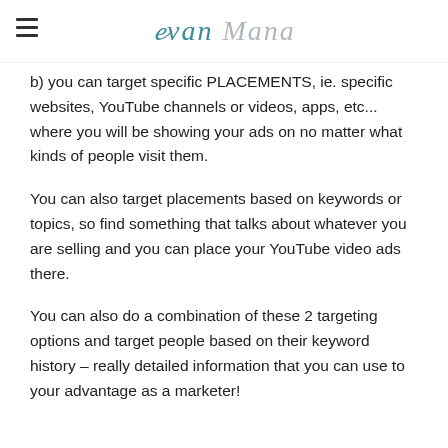Ivan Mana
b) you can target specific PLACEMENTS, ie. specific websites, YouTube channels or videos, apps, etc... where you will be showing your ads on no matter what kinds of people visit them.
You can also target placements based on keywords or topics, so find something that talks about whatever you are selling and you can place your YouTube video ads there.
You can also do a combination of these 2 targeting options and target people based on their keyword history – really detailed information that you can use to your advantage as a marketer!